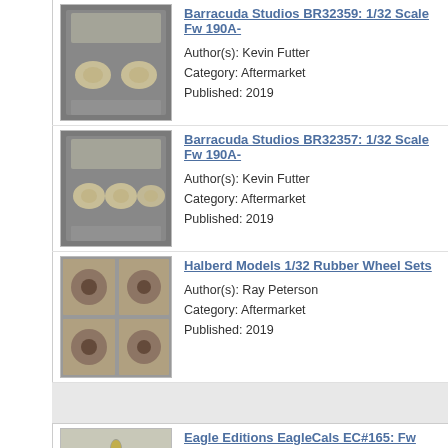[Figure (photo): Product photo of Barracuda Studios BR32359 resin parts in plastic packaging]
Barracuda Studios BR32359: 1/32 Scale Fw 190A-
Author(s): Kevin Futter
Category: Aftermarket
Published: 2019
[Figure (photo): Product photo of Barracuda Studios BR32357 resin parts in plastic packaging]
Barracuda Studios BR32357: 1/32 Scale Fw 190A-
Author(s): Kevin Futter
Category: Aftermarket
Published: 2019
[Figure (photo): Product photo of Halberd Models 1/32 Rubber Wheel Sets showing multiple packaged wheel sets]
Halberd Models 1/32 Rubber Wheel Sets
Author(s): Ray Peterson
Category: Aftermarket
Published: 2019
[Figure (photo): Product photo of Eagle Editions EagleCals EC#165 Fw 190Fs decals showing aircraft illustration]
Eagle Editions EagleCals EC#165: Fw 190Fs
Author(s): Kevin Futter
Category: Decals
Published: 2015
Eagle Editions EC76: Fw 190 A-8s in 1/32nd Scale-